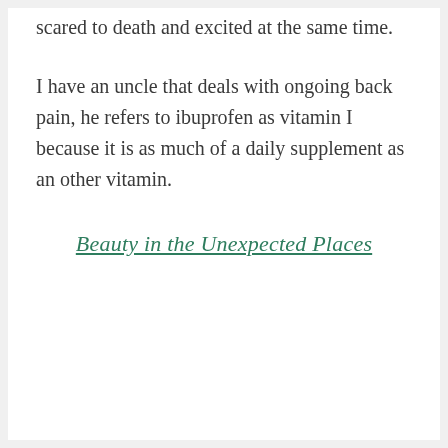scared to death and excited at the same time.
I have an uncle that deals with ongoing back pain, he refers to ibuprofen as vitamin I because it is as much of a daily supplement as an other vitamin.
Beauty in the Unexpected Places